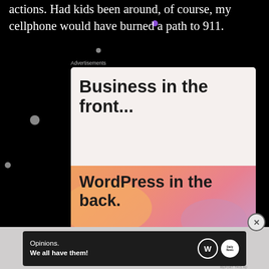actions. Had kids been around, of course, my cellphone would have burned a path to 911.
[Figure (screenshot): WordPress VIP advertisement banner with two sections: top white section saying 'Business in the front...' and bottom gradient orange-pink section saying 'WordPress in the back.' with WP VIP logo and 'Learn more' button]
[Figure (screenshot): WordPress advertisement banner at bottom: dark background with 'Opinions. We all have them!' text and WordPress and news logos]